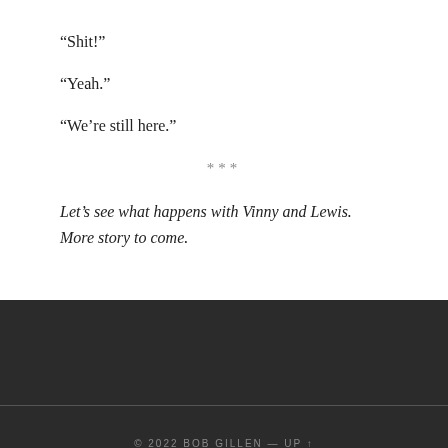“Shit!”
“Yeah.”
“We’re still here.”
***
Let’s see what happens with Vinny and Lewis. More story to come.
© 2022 BOB GILLEN — UP ↑